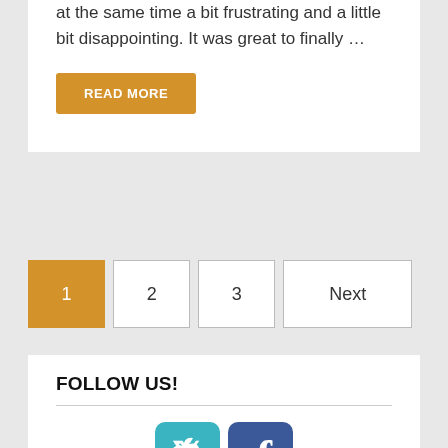at the same time a bit frustrating and a little bit disappointing. It was great to finally ...
READ MORE
1  2  3  Next
FOLLOW US!
[Figure (illustration): Twitter and Facebook social media icons side by side]